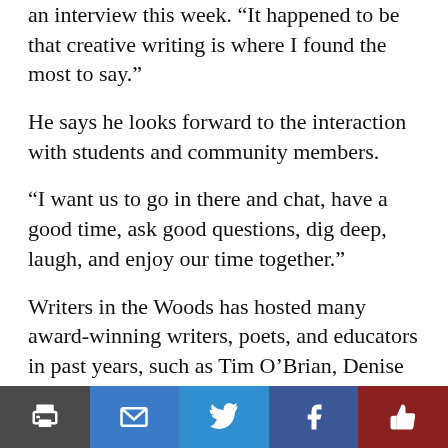an interview this week. “It happened to be that creative writing is where I found the most to say.”
He says he looks forward to the interaction with students and community members.
“I want us to go in there and chat, have a good time, ask good questions, dig deep, laugh, and enjoy our time together.”
Writers in the Woods has hosted many award-winning writers, poets, and educators in past years, such as Tim O’Brian, Denise Duhamel, Bob Hass, and Tobias Wolff, and many more.
The first of the three weekend literary events was held Sept. 24-25, with author Aimee Nezhukumatathil, a renowned author and poet who ha[partially obscured]
[Figure (other): Social share bar with five buttons: print (dark gray), email (blue), Twitter (light blue), Facebook (dark blue), recommend/like (dark red)]